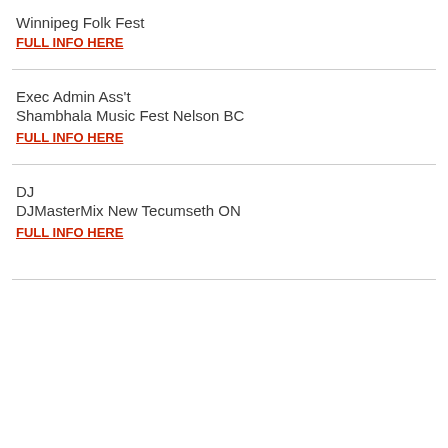Winnipeg Folk Fest
FULL INFO HERE
Exec Admin Ass't
Shambhala Music Fest Nelson BC
FULL INFO HERE
DJ
DJMasterMix New Tecumseth ON
FULL INFO HERE